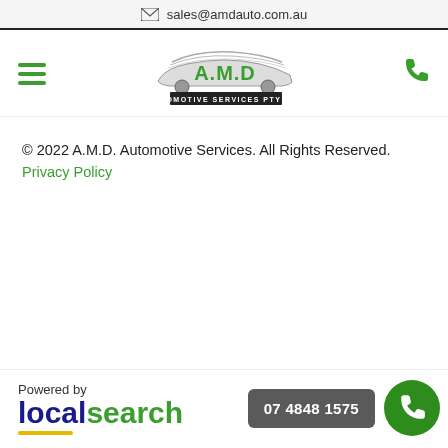sales@amdauto.com.au
[Figure (logo): A.M.D Automotive Services Pty Ltd logo with green text and car silhouette]
© 2022 A.M.D. Automotive Services. All Rights Reserved. Privacy Policy
Powered by localsearch | 07 4848 1575